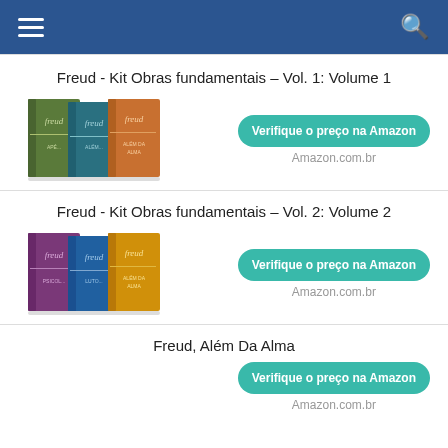Freud - Kit Obras fundamentais – Vol. 1: Volume 1
[Figure (photo): Stack of three Freud books with green, teal, and orange covers]
Verifique o preço na Amazon
Amazon.com.br
Freud - Kit Obras fundamentais – Vol. 2: Volume 2
[Figure (photo): Stack of three Freud books with purple, blue, and yellow covers]
Verifique o preço na Amazon
Amazon.com.br
Freud, Além Da Alma
Verifique o preço na Amazon
Amazon.com.br